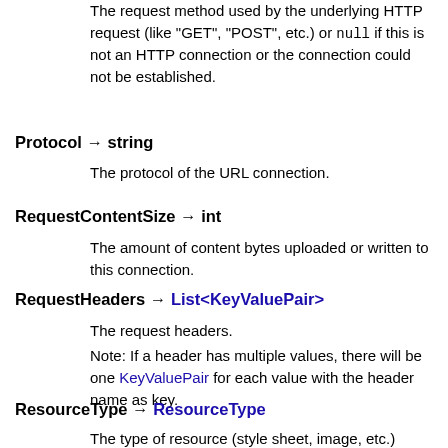The request method used by the underlying HTTP request (like "GET", "POST", etc.) or null if this is not an HTTP connection or the connection could not be established.
Protocol → string
The protocol of the URL connection.
RequestContentSize → int
The amount of content bytes uploaded or written to this connection.
RequestHeaders → List<KeyValuePair>
The request headers.
Note: If a header has multiple values, there will be one KeyValuePair for each value with the header name as key.
ResourceType → ResourceType
The type of resource (style sheet, image, etc.) transferred over this connection.